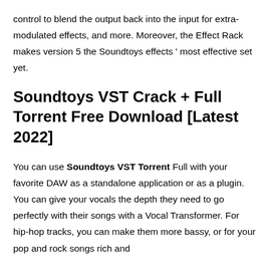control to blend the output back into the input for extra-modulated effects, and more. Moreover, the Effect Rack makes version 5 the Soundtoys effects ' most effective set yet.
Soundtoys VST Crack + Full Torrent Free Download [Latest 2022]
You can use Soundtoys VST Torrent Full with your favorite DAW as a standalone application or as a plugin. You can give your vocals the depth they need to go perfectly with their songs with a Vocal Transformer. For hip-hop tracks, you can make them more bassy, or for your pop and rock songs rich and